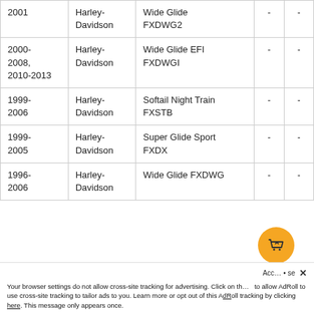| Year | Make | Model |  |  |
| --- | --- | --- | --- | --- |
| 2001 | Harley-Davidson | Wide Glide FXDWG2 | - | - |
| 2000-2008, 2010-2013 | Harley-Davidson | Wide Glide EFI FXDWGI | - | - |
| 1999-2006 | Harley-Davidson | Softail Night Train FXSTB | - | - |
| 1999-2005 | Harley-Davidson | Super Glide Sport FXDX | - | - |
| 1996-2006 | Harley-Davidson | Wide Glide FXDWG | - | - |
Your browser settings do not allow cross-site tracking for advertising. Click on the link to allow AdRoll to use cross-site tracking to tailor ads to you. Learn more or opt out of this AdRoll tracking by clicking here. This message only appears once.